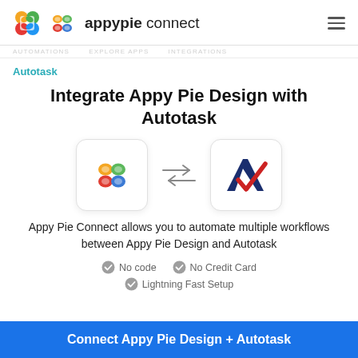appypie connect
Autotask
Integrate Appy Pie Design with Autotask
[Figure (logo): Appy Pie Design logo and Autotask logo with bidirectional arrows between them]
Appy Pie Connect allows you to automate multiple workflows between Appy Pie Design and Autotask
No code
No Credit Card
Lightning Fast Setup
Connect Appy Pie Design + Autotask